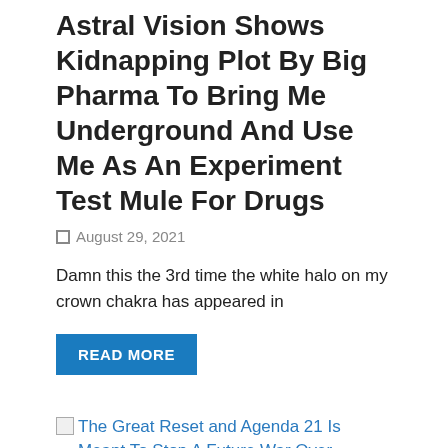Astral Vision Shows Kidnapping Plot By Big Pharma To Bring Me Underground And Use Me As An Experiment Test Mule For Drugs
August 29, 2021
Damn this the 3rd time the white halo on my crown chakra has appeared in
READ MORE
[Figure (illustration): Broken image thumbnail for linked article about The Great Reset and Agenda 21]
The Great Reset and Agenda 21 Is Meant To Stop A Future War Over Overpopulation That Will Wipe Out The Black And Asian Races
The Great Reset and Agenda 21 Is Meant To Stop A Future War Over Overpopulation